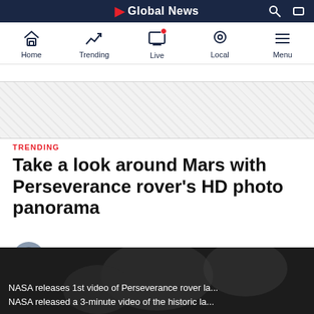Global News
[Figure (screenshot): Navigation bar with Home, Trending, Live, Local, Menu icons]
[Figure (other): Diagonal striped advertisement banner area]
TRENDING
Take a look around Mars with Perseverance rover's HD photo panorama
By Josh K. Elliott · Global News
Posted February 25, 2021 11:53 am
[Figure (screenshot): Video thumbnail showing NASA Perseverance rover landing with two caption lines: 'NASA releases 1st video of Perseverance rover la...' and 'NASA released a 3-minute video of the historic la...']